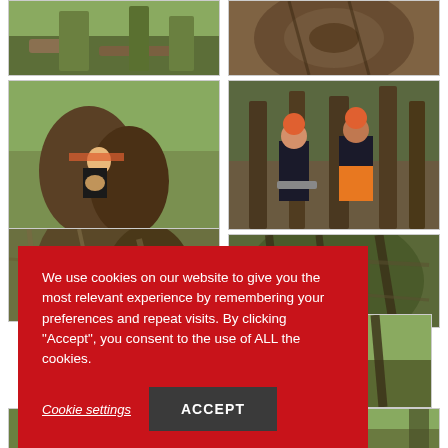[Figure (photo): Forestry scene with logs on ground and trees]
[Figure (photo): Close-up of tree bark or trunk texture]
[Figure (photo): Tree surgeon with orange helmet smiling between large tree trunks]
[Figure (photo): Two workers in orange safety helmets standing in forest with chainsaw]
[Figure (photo): Close-up of tree branches and bark texture]
[Figure (photo): Trees in forest scene]
[Figure (photo): Partial bottom photo left]
[Figure (photo): Partial bottom photo right]
We use cookies on our website to give you the most relevant experience by remembering your preferences and repeat visits. By clicking "Accept", you consent to the use of ALL the cookies.
Cookie settings
ACCEPT